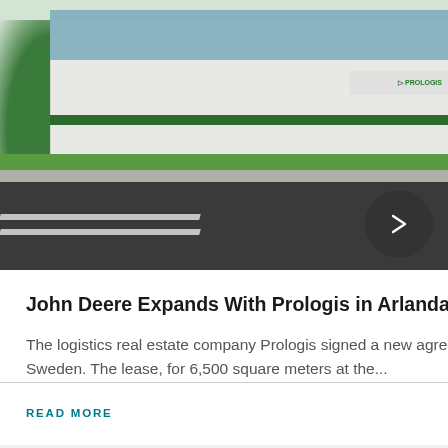[Figure (photo): Exterior rendering of a Prologis logistics warehouse facility with glass facade, green landscaping, road in foreground, and Prologis signage visible]
John Deere Expands With Prologis in Arlandastad
The logistics real estate company Prologis signed a new agreement with John Deere in Arlandasstad, Sweden. The lease, for 6,500 square meters at the...
READ MORE
[Figure (photo): Partial view of second Prologis facility image, partially cropped by page edge]
Prol... Ros...
Prol... regi... ann... squ...
READ